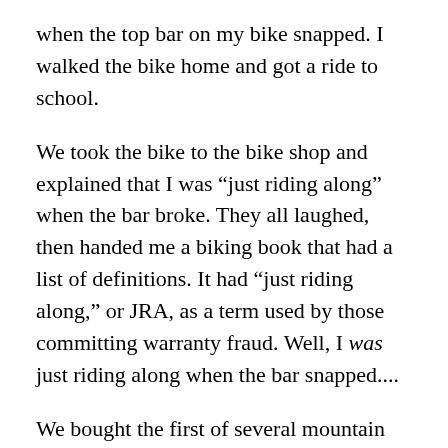when the top bar on my bike snapped. I walked the bike home and got a ride to school.
We took the bike to the bike shop and explained that I was “just riding along” when the bar broke. They all laughed, then handed me a biking book that had a list of definitions. It had “just riding along,” or JRA, as a term used by those committing warranty fraud. Well, I was just riding along when the bar snapped....
We bought the first of several mountain bikes from them that day. The shop even had a trail ride they would lead. I went on this ride the next Saturday. They were much more advanced than I was so I only went on one or two rides